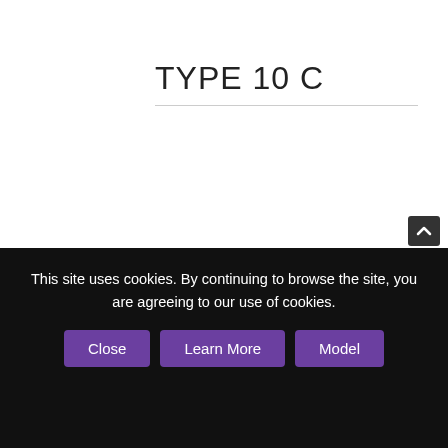TYPE 10 C
[Figure (illustration): Black square icon with white crossed wrench and screwdriver tools]
[Figure (illustration): Purple circle with white trophy/award cup icon]
WELL TRAINED
This site uses cookies. By continuing to browse the site, you are agreeing to our use of cookies.
Close | Learn More | Model